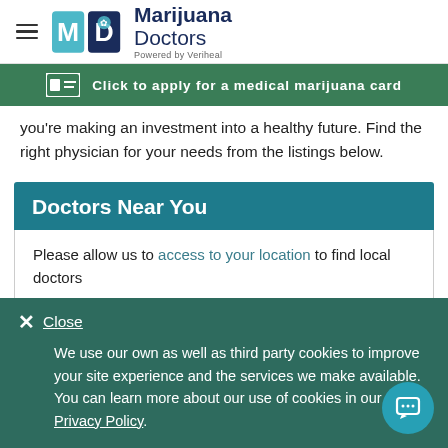Marijuana Doctors — Powered by Veriheal
[Figure (infographic): Green banner with ID card icon: Click to apply for a medical marijuana card]
you're making an investment into a healthy future. Find the right physician for your needs from the listings below.
Doctors Near You
Please allow us to access to your location to find local doctors
Close
We use our own as well as third party cookies to improve your site experience and the services we make available. You can learn more about our use of cookies in our Privacy Policy.